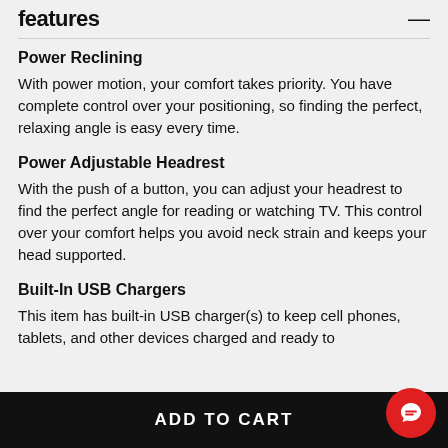features
Power Reclining
With power motion, your comfort takes priority. You have complete control over your positioning, so finding the perfect, relaxing angle is easy every time.
Power Adjustable Headrest
With the push of a button, you can adjust your headrest to find the perfect angle for reading or watching TV. This control over your comfort helps you avoid neck strain and keeps your head supported.
Built-In USB Chargers
This item has built-in USB charger(s) to keep cell phones, tablets, and other devices charged and ready to
ADD TO CART